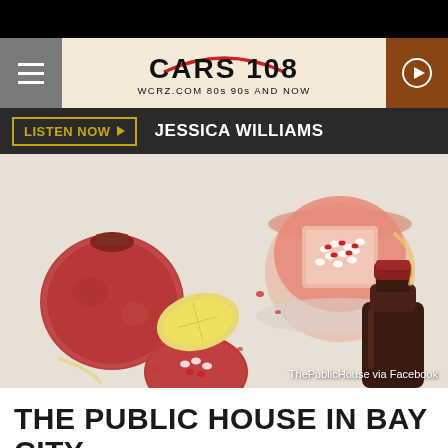[Figure (logo): Cars 108 radio station logo with red car silhouette, text CARS 108, WCRZ.COM 80s 90s AND NOW]
LISTEN NOW  JESSICA WILLIAMS
[Figure (photo): Photo of pomegranates, a glass of pomegranate juice with pomegranate seeds on ice, a lemon half, and a dark bottle on a white surface. Credit: ThePublicHouse via Facebook]
THE PUBLIC HOUSE IN BAY CITY